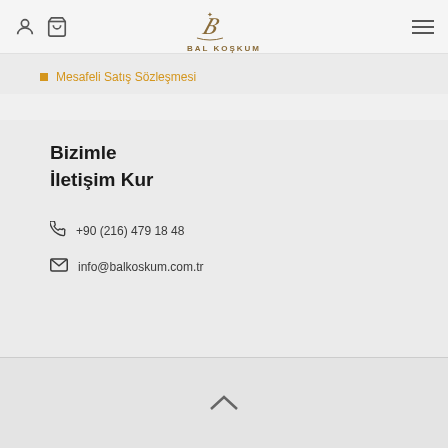Bal Koşkum — header with logo, user icon, cart icon, and hamburger menu
Mesafeli Satış Sözleşmesi
Bizimle İletişim Kur
📞 +90 (216) 479 18 48
✉ info@balkoskum.com.tr
^ (back to top chevron)